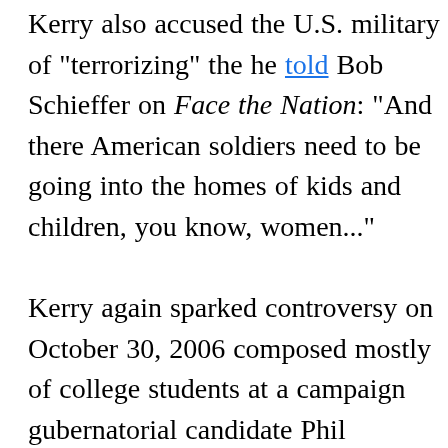Kerry also accused the U.S. military of "terrorizing" the he told Bob Schieffer on Face the Nation: "And there American soldiers need to be going into the homes of kids and children, you know, women..."

Kerry again sparked controversy on October 30, 2006 composed mostly of college students at a campaign gubernatorial candidate Phil Angelides. "You know," s most of it, you study hard, you do your homework an can do well. If you don't, you get stuck in Iraq." The fo major parties criticized Kerry's remarks as insulting to fighting in Iraq at that time. Kerry replied: "Let me ma know how. I apologize to no one for my criticism of th He then explained that his original remark was merel